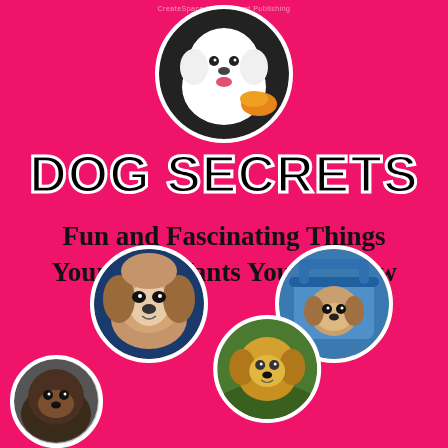[Figure (illustration): Book cover with hot pink/magenta background featuring circular dog photos and bold title text. Top center: a white fluffy dog (Bichon Frise) in a circle. Middle section: large bold title 'DOG SECRETS' in black with white outline. Below: subtitle text 'Fun and Fascinating Things Your Dog Wants You to Know'. Bottom: three circular dog photos - a Shih Tzu on left, a dog in blue carrier on right, a golden retriever puppy in center-bottom, and a partial circle bottom-left.]
DOG SECRETS
Fun and Fascinating Things Your Dog Wants You to Know